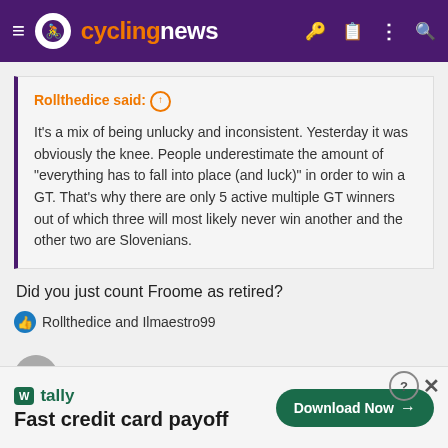cyclingnews
Rollthedice said: ↑

It's a mix of being unlucky and inconsistent. Yesterday it was obviously the knee. People underestimate the amount of "everything has to fall into place (and luck)" in order to win a GT. That's why there are only 5 active multiple GT winners out of which three will most likely never win another and the other two are Slovenians.
Did you just count Froome as retired?
Rollthedice and Ilmaestro99
Netserk
Fast credit card payoff